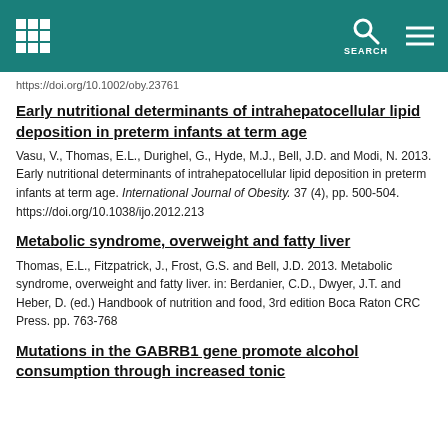SEARCH
https://doi.org/10.1002/oby.23761
Early nutritional determinants of intrahepatocellular lipid deposition in preterm infants at term age
Vasu, V., Thomas, E.L., Durighel, G., Hyde, M.J., Bell, J.D. and Modi, N. 2013. Early nutritional determinants of intrahepatocellular lipid deposition in preterm infants at term age. International Journal of Obesity. 37 (4), pp. 500-504. https://doi.org/10.1038/ijo.2012.213
Metabolic syndrome, overweight and fatty liver
Thomas, E.L., Fitzpatrick, J., Frost, G.S. and Bell, J.D. 2013. Metabolic syndrome, overweight and fatty liver. in: Berdanier, C.D., Dwyer, J.T. and Heber, D. (ed.) Handbook of nutrition and food, 3rd edition Boca Raton CRC Press. pp. 763-768
Mutations in the GABRB1 gene promote alcohol consumption through increased tonic